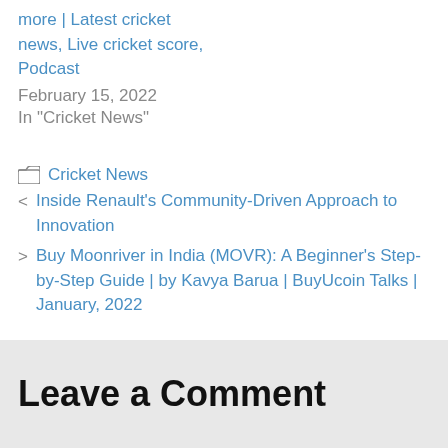more | Latest cricket news, Live cricket score, Podcast
February 15, 2022
In "Cricket News"
Cricket News
< Inside Renault’s Community-Driven Approach to Innovation
> Buy Moonriver in India (MOVR): A Beginner’s Step-by-Step Guide | by Kavya Barua | BuyUcoin Talks | January, 2022
Leave a Comment